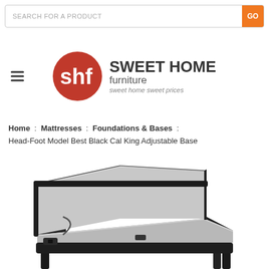SEARCH FOR A PRODUCT  GO
[Figure (logo): Sweet Home Furniture logo: red circle with white shf text, next to brand name SWEET HOME furniture sweet home sweet prices]
Home  :  Mattresses  :  Foundations & Bases  :  Head-Foot Model Best Black Cal King Adjustable Base
[Figure (photo): Adjustable bed base shown elevated at head and foot, black metal frame with legs, neutral fabric surface]